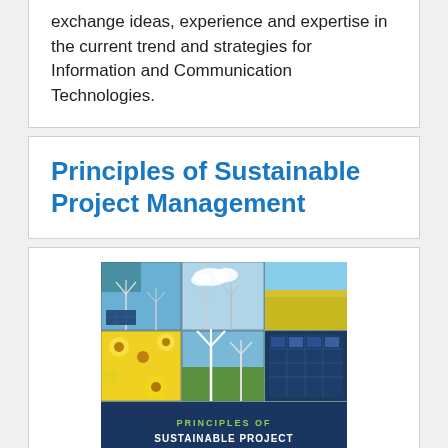exchange ideas, experience and expertise in the current trend and strategies for Information and Communication Technologies.
Principles of Sustainable Project Management
[Figure (photo): Book cover of 'Principles of Sustainable Project Management' by Mohamed Salama, showing a collage of renewable energy images (wind turbines, solar panels, yellow flower fields, blue sky) in the top portion, and the book title text on a dark blue background in the bottom portion.]